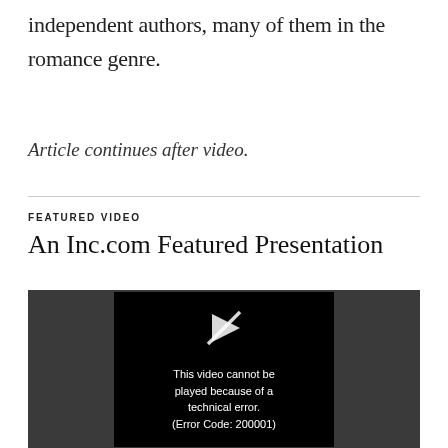independent authors, many of them in the romance genre.
Article continues after video.
FEATURED VIDEO
An Inc.com Featured Presentation
[Figure (screenshot): Video player showing error message: 'This video cannot be played because of a technical error. (Error Code: 200001)' on a dark background]